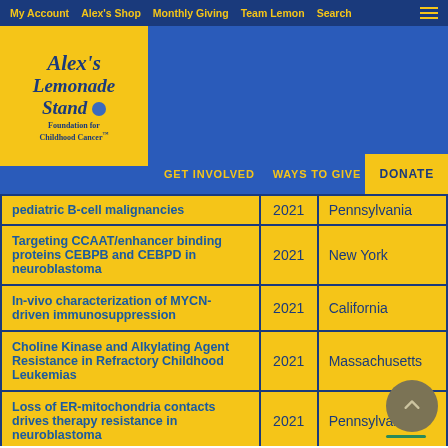My Account  Alex's Shop  Monthly Giving  Team Lemon  Search
[Figure (logo): Alex's Lemonade Stand Foundation for Childhood Cancer logo in yellow box]
GET INVOLVED  WAYS TO GIVE  DONATE
| Title | Year | State |
| --- | --- | --- |
| pediatric B-cell malignancies | 2021 | Pennsylvania |
| Targeting CCAAT/enhancer binding proteins CEBPB and CEBPD in neuroblastoma | 2021 | New York |
| In-vivo characterization of MYCN-driven immunosuppression | 2021 | California |
| Choline Kinase and Alkylating Agent Resistance in Refractory Childhood Leukemias | 2021 | Massachusetts |
| Loss of ER-mitochondria contacts drives therapy resistance in neuroblastoma | 2021 | Pennsylvania |